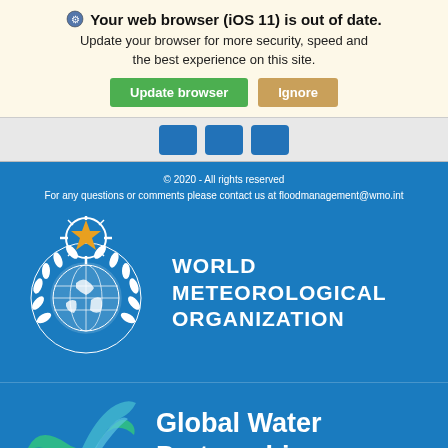Your web browser (iOS 11) is out of date. Update your browser for more security, speed and the best experience on this site.
[Figure (screenshot): Update browser and Ignore buttons in a browser warning banner]
[Figure (screenshot): Social media buttons row (blue square icons)]
© 2020 - All rights reserved
For any questions or comments please contact us at floodmanagement@wmo.int
[Figure (logo): World Meteorological Organization logo - white emblem with globe and laurel branches, orange star compass on top]
WORLD METEOROLOGICAL ORGANIZATION
[Figure (logo): Global Water Partnership logo - green and teal wave/bird shape]
Global Water Partnership